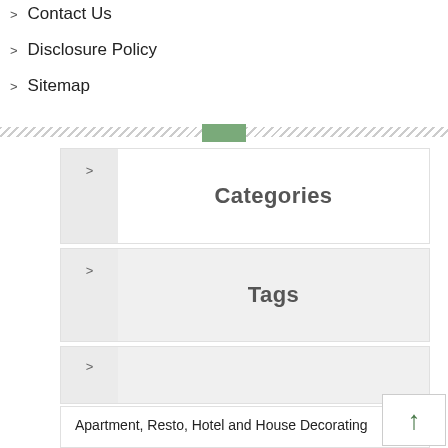Contact Us
Disclosure Policy
Sitemap
Categories
Tags
Apartment, Resto, Hotel and House Decorating
Apparel
Assembly